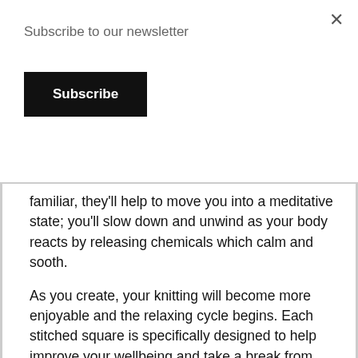Subscribe to our newsletter
Subscribe
familiar, they'll help to move you into a meditative state; you'll slow down and unwind as your body reacts by releasing chemicals which calm and sooth.
As you create, your knitting will become more enjoyable and the relaxing cycle begins. Each stitched square is specifically designed to help improve your wellbeing and take a break from any negative and stressful thoughts.
The kit contains the West Yorkshire Spinners Re:treat Chunky Roving yarn